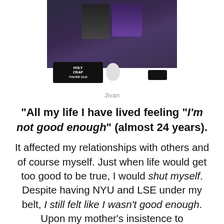[Figure (photo): A photo of a person (Jivan) at a table with a birthday cake that reads 'HOLY CRAP YOU'RE OLD', a phone, and a paper roll on a white table.]
Jivan
"All my life I have lived feeling "I'm not good enough" (almost 24 years).
It affected my relationships with others and of course myself. Just when life would get too good to be true, I would shut myself. Despite having NYU and LSE under my belt, I still felt like I wasn't good enough. Upon my mother's insistence to